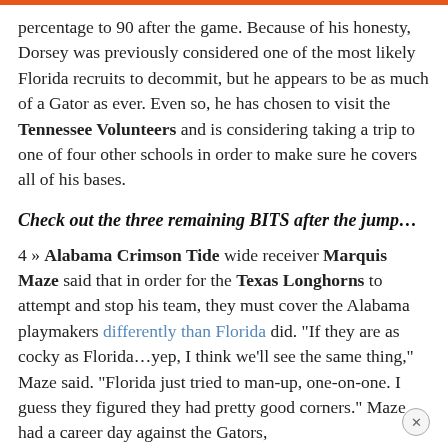percentage to 90 after the game. Because of his honesty, Dorsey was previously considered one of the most likely Florida recruits to decommit, but he appears to be as much of a Gator as ever. Even so, he has chosen to visit the Tennessee Volunteers and is considering taking a trip to one of four other schools in order to make sure he covers all of his bases.
Check out the three remaining BITS after the jump…
4 » Alabama Crimson Tide wide receiver Marquis Maze said that in order for the Texas Longhorns to attempt and stop his team, they must cover the Alabama playmakers differently than Florida did. "If they are as cocky as Florida…yep, I think we'll see the same thing," Maze said. "Florida just tried to man-up, one-on-one. I guess they figured they had pretty good corners." Maze had a career day against the Gators, catching five passes for 96 yards and five first downs